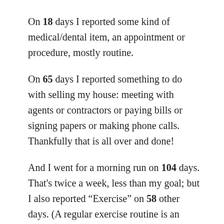On 18 days I reported some kind of medical/dental item, an appointment or procedure, mostly routine.
On 65 days I reported something to do with selling my house: meeting with agents or contractors or paying bills or signing papers or making phone calls. Thankfully that is all over and done!
And I went for a morning run on 104 days. That's twice a week, less than my goal; but I also reported “Exercise” on 58 other days. (A regular exercise routine is an ongoing issue.)
As planned, I got 500 words or so into my wrap-up essay, then spent an hour looking at alternatives to Adobe Bridge. And now at 5pm I am settling down for a